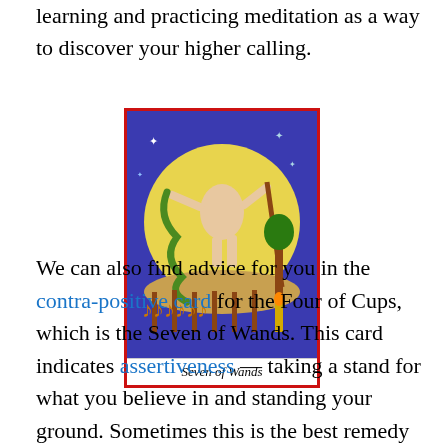learning and practicing meditation as a way to discover your higher calling.
[Figure (illustration): Tarot card illustration: Seven of Wands. A figure fighting with wands against a blue background with a circular golden scene.]
Seven of Wands
We can also find advice for you in the contra-positive card for the Four of Cups, which is the Seven of Wands. This card indicates assertiveness — taking a stand for what you believe in and standing your ground. Sometimes this is the best remedy for the boredom and stuck-in-a-rut dissatisfaction that we see in the Four of Cups. By the way, this stand-your-ground advice may sound